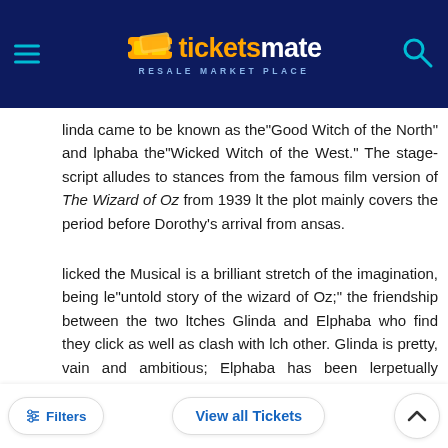TicketsMate - Resale Market Place
linda came to be known as the"Good Witch of the North" and lphaba the"Wicked Witch of the West." The stage-script alludes to stances from the famous film version of The Wizard of Oz from 1939 lt the plot mainly covers the period before Dorothy's arrival from ansas.
licked the Musical is a brilliant stretch of the imagination, being le"untold story of the wizard of Oz;" the friendship between the two ltches Glinda and Elphaba who find they click as well as clash with lch other. Glinda is pretty, vain and ambitious; Elphaba has been lerpetually challenged because of her green skin despite the fact that le's a truly talented witch. They discover their dislike for one another lollege drama S... Glinda and Elphaba... use their talents to ... de... Wizard's d... government (and the lopsided social structure it presents) influences